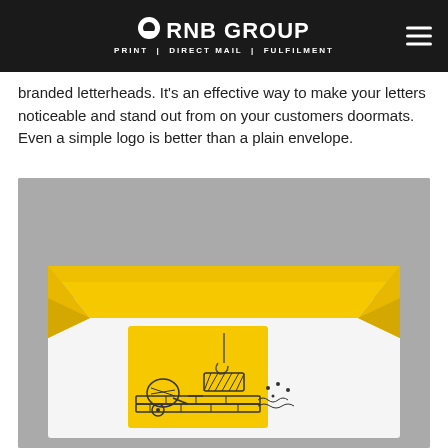RNB GROUP | PRINT | DIRECT MAIL | FULFILMENT
branded letterheads. It's an effective way to make your letters noticeable and stand out from on your customers doormats. Even a simple logo is better than a plain envelope.
[Figure (illustration): Illustration of a branded yellow envelope with a construction-themed logo on the front, showing a crane, cement mixer, and bricks on a yellow background panel.]